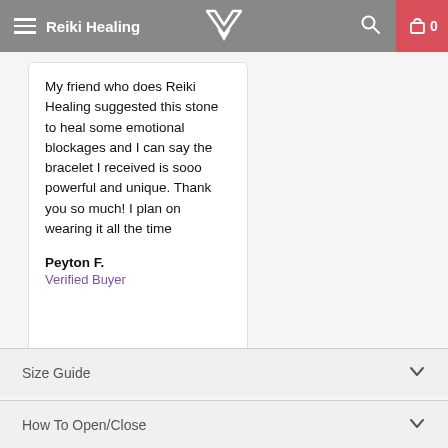My friend who does Reiki Healing [nav bar with logo and cart]
My friend who does Reiki Healing suggested this stone to heal some emotional blockages and I can say the bracelet I received is sooo powerful and unique. Thank you so much! I plan on wearing it all the time
Peyton F.
Verified Buyer
Size Guide
How To Open/Close